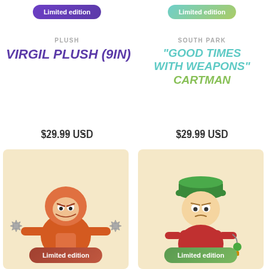Limited edition
Limited edition
PLUSH
SOUTH PARK
VIRGIL PLUSH (9IN)
"GOOD TIMES WITH WEAPONS" CARTMAN
$29.99 USD
$29.99 USD
[Figure (illustration): Kenny from South Park in orange parka holding shurikens, standing on a cream/beige background card with a brown 'Limited edition' badge at the bottom]
[Figure (illustration): Cartman from South Park wearing a green hat and red jacket holding a chain weapon, standing on a cream/beige background card with a green 'Limited edition' badge at the bottom]